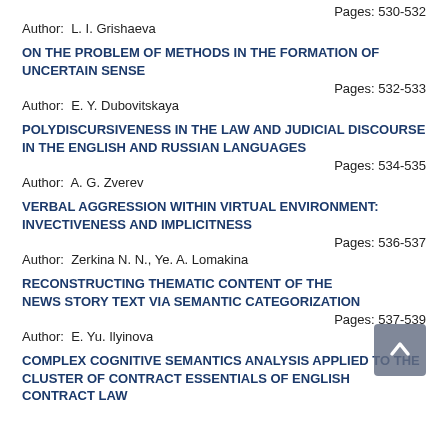Pages: 530-532
Author:  L. I. Grishaeva
ON THE PROBLEM OF METHODS IN THE FORMATION OF UNCERTAIN SENSE
Pages: 532-533
Author:  E. Y. Dubovitskaya
POLYDISCURSIVENESS IN THE LAW AND JUDICIAL DISCOURSE IN THE ENGLISH AND RUSSIAN LANGUAGES
Pages: 534-535
Author:  A. G. Zverev
VERBAL AGGRESSION WITHIN VIRTUAL ENVIRONMENT: INVECTIVENESS AND IMPLICITNESS
Pages: 536-537
Author:  Zerkina N. N., Ye. A. Lomakina
RECONSTRUCTING THEMATIC CONTENT OF THE NEWS STORY TEXT VIA SEMANTIC CATEGORIZATION
Pages: 537-539
Author:  E. Yu. Ilyinova
COMPLEX COGNITIVE SEMANTICS ANALYSIS APPLIED TO THE CLUSTER OF CONTRACT ESSENTIALS OF ENGLISH CONTRACT LAW